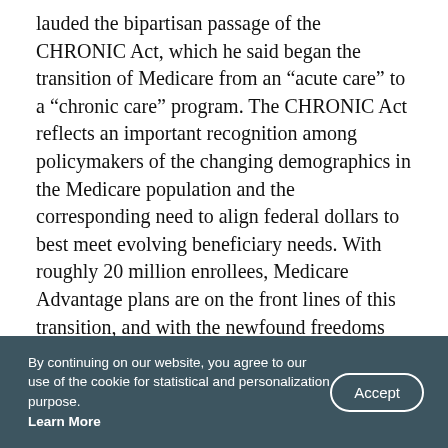lauded the bipartisan passage of the CHRONIC Act, which he said began the transition of Medicare from an “acute care” to a “chronic care” program. The CHRONIC Act reflects an important recognition among policymakers of the changing demographics in the Medicare population and the corresponding need to align federal dollars to best meet evolving beneficiary needs. With roughly 20 million enrollees, Medicare Advantage plans are on the front lines of this transition, and with the newfound freedoms provided by CMS’s recent actions, all eyes will be on them.
By continuing on our website, you agree to our use of the cookie for statistical and personalization purpose. Learn More